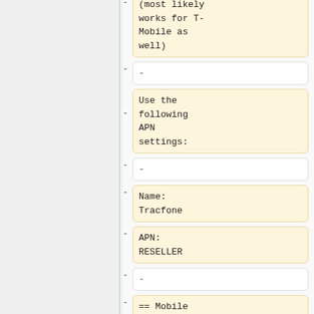(most likely works for T-Mobile as well)
-
Use the following APN settings:
-
Name: Tracfone
APN: RESELLER
-
== Mobile Vikings (Belgium) ==